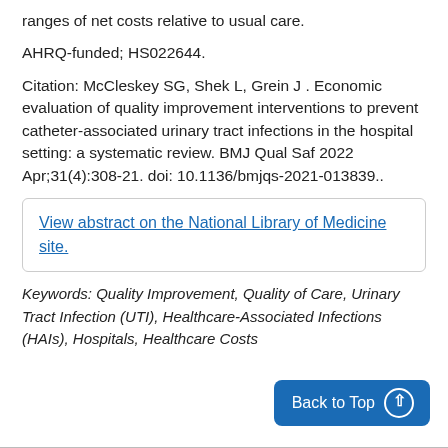ranges of net costs relative to usual care.
AHRQ-funded; HS022644.
Citation: McCleskey SG, Shek L, Grein J . Economic evaluation of quality improvement interventions to prevent catheter-associated urinary tract infections in the hospital setting: a systematic review. BMJ Qual Saf 2022 Apr;31(4):308-21. doi: 10.1136/bmjqs-2021-013839..
View abstract on the National Library of Medicine site.
Keywords: Quality Improvement, Quality of Care, Urinary Tract Infection (UTI), Healthcare-Associated Infections (HAIs), Hospitals, Healthcare Costs